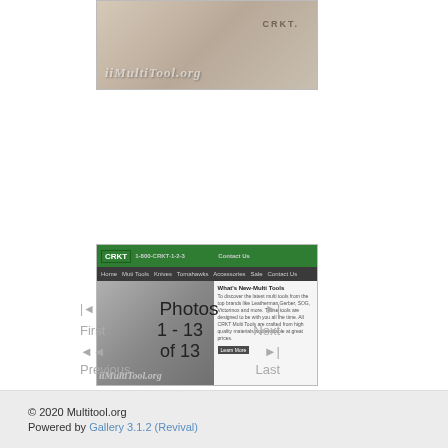[Figure (photo): Photo of a CRKT knife/tool being held, with iMultiTool.org watermark overlaid]
[Figure (screenshot): Screenshot of the CRKT website showing multi-tools product page with 'What's New-Multi Tools' section, with iMultiTool.org watermark overlaid]
Photos
1 - 13
of 13
First
Next
Previous
Last
© 2020 Multitool.org
Powered by Gallery 3.1.2 (Revival)